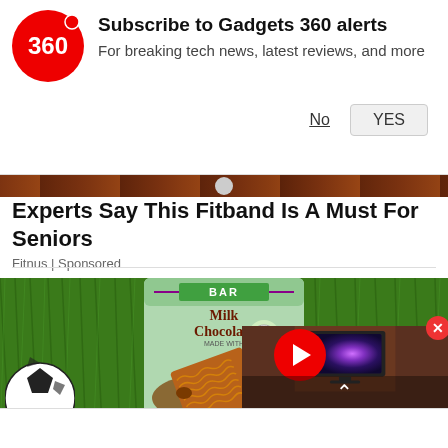[Figure (logo): Gadgets 360 logo - red circle with '360' text in white]
Subscribe to Gadgets 360 alerts
For breaking tech news, latest reviews, and more
No
YES
[Figure (photo): Thin horizontal strip showing a brick/wooden surface]
Experts Say This Fitband Is A Must For Seniors
Fitnus | Sponsored
[Figure (photo): Main image showing a milk chocolate bar product (BAR brand, Milk Chocolate, Only 5 Ingredients) on green grass background, with a soccer ball partially visible at bottom left. A video overlay in bottom-right shows a TV with galaxy image and a red play button.]